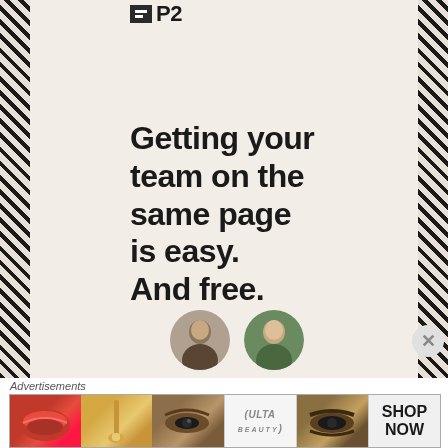P2
Getting your team on the same page is easy. And free.
[Figure (photo): Two circular avatar photos of users: a male (left) and a female (right)]
Advertisements
[Figure (photo): Ulta Beauty advertisement banner with makeup imagery including lips, brushes, eyes, Ulta logo, and SHOP NOW call to action]